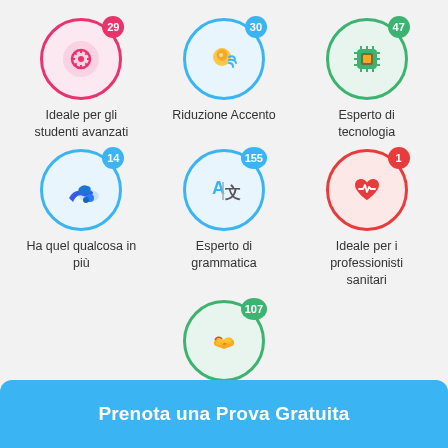[Figure (infographic): Grid of 7 tutor category icons with badge numbers. Row 1: pink gear icon badge 29 (Ideale per gli studenti avanzati), blue speaker icon badge 30 (Riduzione Accento), green chip icon badge 47 (Esperto di tecnologia). Row 2: blue sneaker icon badge 14 (Ha quel qualcosa in più), blue translation icon badge 155 (Esperto di grammatica), red heart icon badge 1 (Ideale per i professionisti sanitari). Row 3 partial: green handshake icon badge 107.]
Prenota una Prova Gratuita